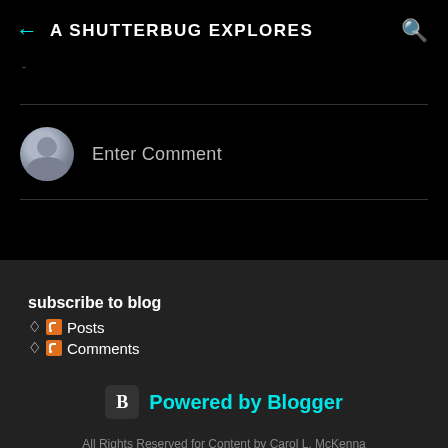A SHUTTERBUG EXPLORES
-
Enter Comment
subscribe to blog
Posts
Comments
Powered by Blogger
All Rights Reserved for Content by Carol L. McKenna